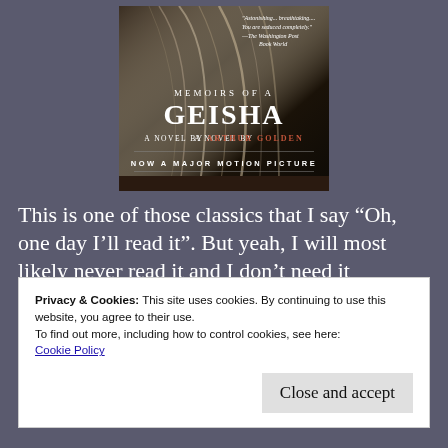[Figure (illustration): Book cover of 'Memoirs of a Geisha' by Arthur Golden. Dark moody cover with silhouette of hair. Text reads: 'Astonishing... breathtaking... You are seduced completely.' — The Washington Post Book World. MEMOIRS OF A GEISHA. A NOVEL BY ARTHUR GOLDEN. NOW A MAJOR MOTION PICTURE.]
This is one of those classics that I say “Oh, one day I’ll read it”. But yeah, I will most likely never read it and I don’t need it cluttering my TBR shelf.
Privacy & Cookies: This site uses cookies. By continuing to use this website, you agree to their use.
To find out more, including how to control cookies, see here:
Cookie Policy